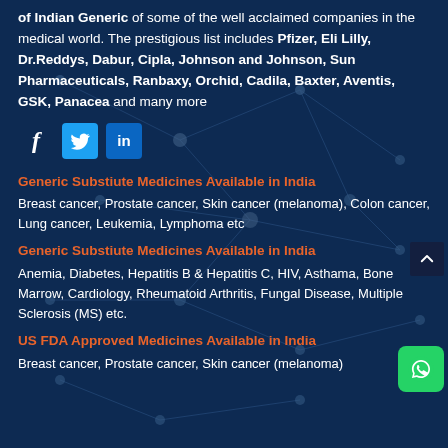of Indian Generic of some of the well acclaimed companies in the medical world. The prestigious list includes Pfizer, Eli Lilly, Dr.Reddys, Dabur, Cipla, Johnson and Johnson, Sun Pharmaceuticals, Ranbaxy, Orchid, Cadila, Baxter, Aventis, GSK, Panacea and many more
[Figure (infographic): Social media sharing icons: Facebook (f), Twitter (bird), LinkedIn (in)]
Generic Substiute Medicines Available in India
Breast cancer, Prostate cancer, Skin cancer (melanoma), Colon cancer, Lung cancer, Leukemia, Lymphoma etc
Generic Substiute Medicines Available in India
Anemia, Diabetes, Hepatitis B & Hepatitis C, HIV, Asthama, Bone Marrow, Cardiology, Rheumatoid Arthritis, Fungal Disease, Multiple Sclerosis (MS) etc.
US FDA Approved Medicines Available in India
Breast cancer, Prostate cancer, Skin cancer (melanoma)